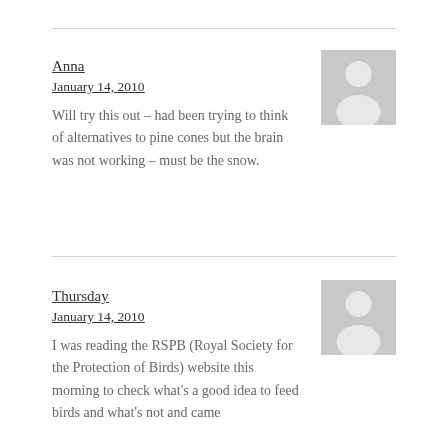Anna
January 14, 2010
Will try this out – had been trying to think of alternatives to pine cones but the brain was not working – must be the snow.
[Figure (illustration): Gray placeholder avatar silhouette icon]
Thursday
January 14, 2010
I was reading the RSPB (Royal Society for the Protection of Birds) website this morning to check what's a good idea to feed birds and what's not and came
[Figure (illustration): Gray placeholder avatar silhouette icon]